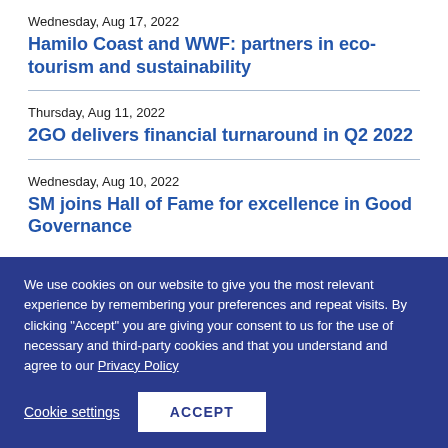Wednesday, Aug 17, 2022
Hamilo Coast and WWF: partners in eco-tourism and sustainability
Thursday, Aug 11, 2022
2GO delivers financial turnaround in Q2 2022
Wednesday, Aug 10, 2022
SM joins Hall of Fame for excellence in Good Governance
We use cookies on our website to give you the most relevant experience by remembering your preferences and repeat visits. By clicking “Accept” you are giving your consent to us for the use of necessary and third-party cookies and that you understand and agree to our Privacy Policy
Cookie settings
ACCEPT